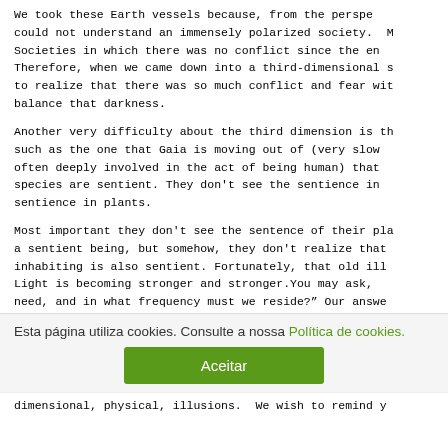We took these Earth vessels because, from the perspective, could not understand an immensely polarized society. Societies in which there was no conflict since the en... Therefore, when we came down into a third-dimensional s... to realize that there was so much conflict and fear wit... balance that darkness.
Another very difficulty about the third dimension is th... such as the one that Gaia is moving out of (very slow... often deeply involved in the act of being human) that ... species are sentient. They don't see the sentience in... sentience in plants.
Most important they don't see the sentence of their pla... a sentient being, but somehow, they don't realize that... inhabiting is also sentient. Fortunately, that old ill... Light is becoming stronger and stronger.You may ask, ... need, and in what frequency must we reside?" Our answe... infinite. Also, the higher light has no limit and no ti...
...ys... nn... th... d...
Esta página utiliza cookies. Consulte a nossa Política de cookies.
Aceitar
dimensional, physical, illusions. We wish to remind y...